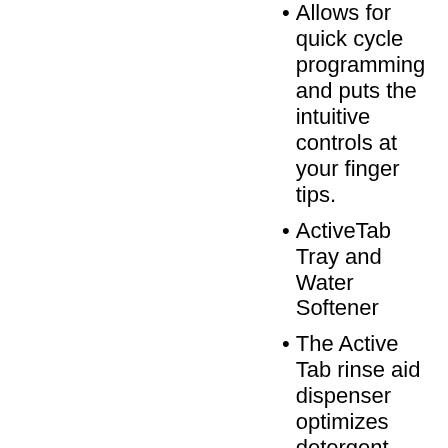Allows for quick cycle programming and puts the intuitive controls at your finger tips.
ActiveTab Tray and Water Softener
The Active Tab rinse aid dispenser optimizes detergent dissolving, and the water softener ensures perfect cleaning